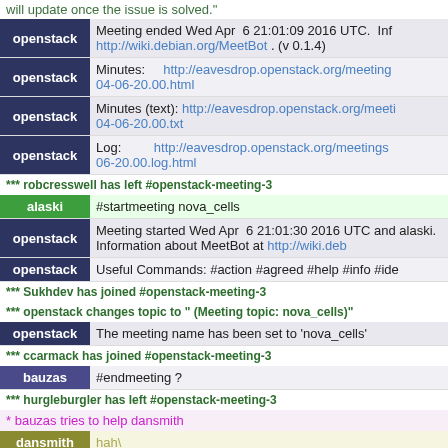will update once the issue is solved."
| openstack | Meeting ended Wed Apr  6 21:01:09 2016 UTC.  Inf http://wiki.debian.org/MeetBot . (v 0.1.4) |
| openstack | Minutes:    http://eavesdrop.openstack.org/meeting 04-06-20.00.html |
| openstack | Minutes (text): http://eavesdrop.openstack.org/meeti 04-06-20.00.txt |
| openstack | Log:        http://eavesdrop.openstack.org/meetings/ 06-20.00.log.html |
*** robcresswell has left #openstack-meeting-3
| alaski | #startmeeting nova_cells |
| openstack | Meeting started Wed Apr  6 21:01:30 2016 UTC and alaski. Information about MeetBot at http://wiki.deb |
| openstack | Useful Commands: #action #agreed #help #info #ide |
*** Sukhdev has joined #openstack-meeting-3
*** openstack changes topic to " (Meeting topic: nova_cells)"
| openstack | The meeting name has been set to 'nova_cells' |
*** ccarmack has joined #openstack-meeting-3
| bauzas | #endmeeting ? |
*** hurgleburgler has left #openstack-meeting-3
* bauzas tries to help dansmith
| dansmith | hah\ |